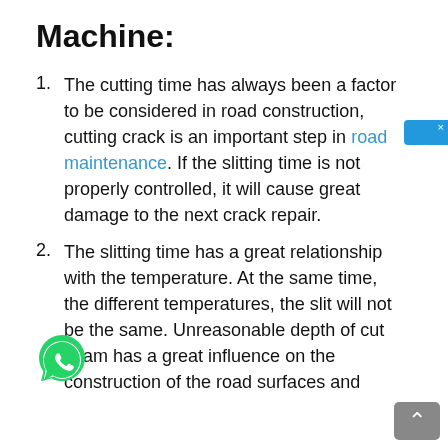Machine:
The cutting time has always been a factor to be considered in road construction, cutting crack is an important step in road maintenance. If the slitting time is not properly controlled, it will cause great damage to the next crack repair.
The slitting time has a great relationship with the temperature. At the same time, the different temperatures, the slit will not be the same. Unreasonable depth of cut seam has a great influence on the construction of the road surfaces and